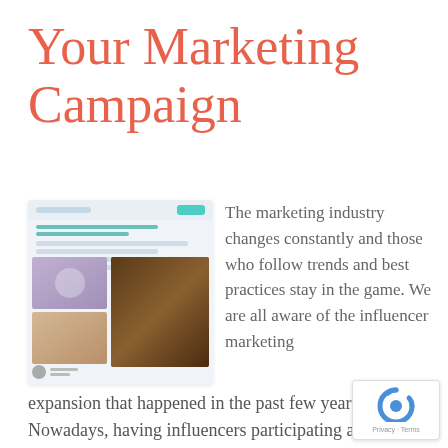Your Marketing Campaign
[Figure (screenshot): Screenshot of a marketing/influencer platform interface showing a content feed with lifestyle photos and a user profile bar]
The marketing industry changes constantly and those who follow trends and best practices stay in the game. We are all aware of the influencer marketing expansion that happened in the past few years. Nowadays, having influencers participating as part of your marketing strategy is not a luxury and not reserved for expensive brands only. [...]